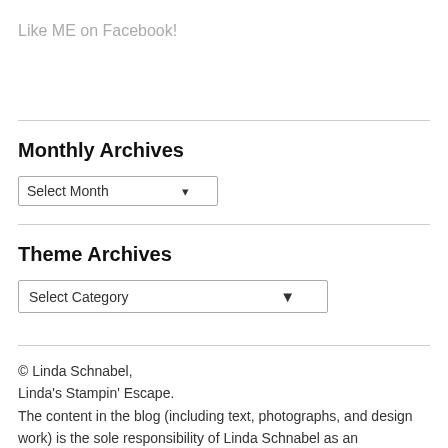Like ME on Facebook!
Monthly Archives
Select Month
Theme Archives
Select Category
© Linda Schnabel,
Linda's Stampin' Escape.
The content in the blog (including text, photographs, and design work) is the sole responsibility of Linda Schnabel as an Independent Stampin' Up! demonstrator and the use of and content of classes, services or